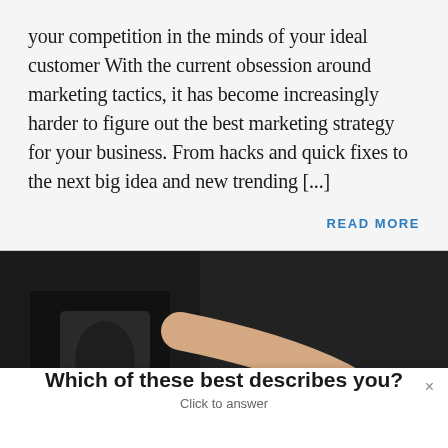your competition in the minds of your ideal customer With the current obsession around marketing tactics, it has become increasingly harder to figure out the best marketing strategy for your business. From hacks and quick fixes to the next big idea and new trending [...]
READ MORE
[Figure (photo): A person wearing a black apron or clothing, holding a marker pen over yellow sticky notes on a white surface, appearing to write or place notes.]
Which of these best describes you?
Click to answer